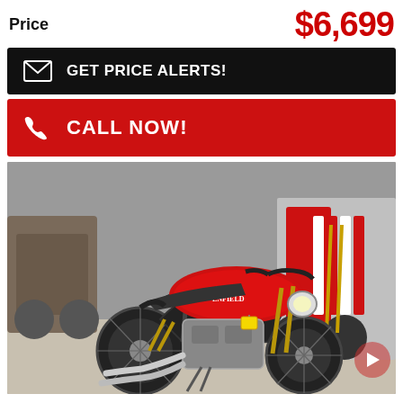Price  $6,699
GET PRICE ALERTS!
CALL NOW!
[Figure (photo): Royal Enfield motorcycle (red) displayed in a dealership showroom with other motorcycles in the background]